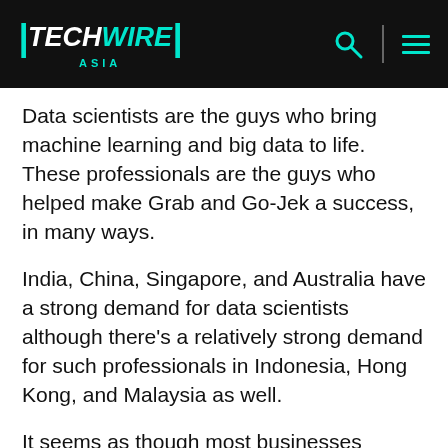TECHWIRE ASIA
Data scientists are the guys who bring machine learning and big data to life. These professionals are the guys who helped make Grab and Go-Jek a success, in many ways.
India, China, Singapore, and Australia have a strong demand for data scientists although there’s a relatively strong demand for such professionals in Indonesia, Hong Kong, and Malaysia as well.
It seems as though most businesses understand the role that the combination of big data and machine learning, and by extension, data scientists, play in making sense of market signals, customer needs, and helping to maximize resources.